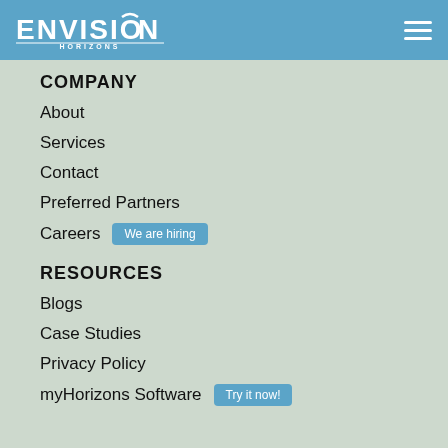[Figure (logo): Envision Horizons logo in white on blue header background]
COMPANY
About
Services
Contact
Preferred Partners
Careers   We are hiring
RESOURCES
Blogs
Case Studies
Privacy Policy
myHorizons Software   Try it now!